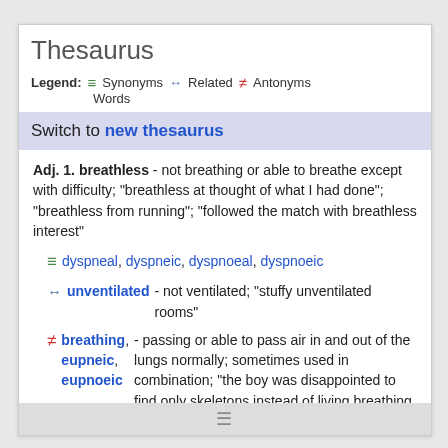Thesaurus
Legend: ≡ Synonyms ↔ Related ≠ Antonyms Words
Switch to new thesaurus
Adj. 1. breathless - not breathing or able to breathe except with difficulty; "breathless at thought of what I had done"; "breathless from running"; "followed the match with breathless interest"
≡ dyspneal, dyspneic, dyspnoeal, dyspnoeic
↔ unventilated - not ventilated; "stuffy unventilated rooms"
≠ breathing, eupneic, eupnoeic - passing or able to pass air in and out of the lungs normally; sometimes used in combination; "the boy was disappointed to find only skeletons instead of living breathing dinosaurs"; "the heavy-breathing person on the telephone"